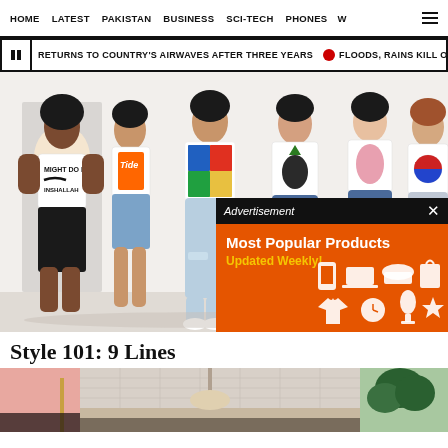HOME  LATEST  PAKISTAN  BUSINESS  SCI-TECH  PHONES  W
RETURNS TO COUNTRY'S AIRWAVES AFTER THREE YEARS  •  FLOODS, RAINS KILL O
[Figure (photo): Group of six young people wearing branded graphic t-shirts in a fashion editorial style photo against a white background]
Style 101: 9 Lines
[Figure (infographic): Advertisement overlay: Most Popular Products Updated Weekly! on orange background with white product icon silhouettes]
[Figure (photo): Bottom portion of interior restaurant or cafe scene with pink walls and hanging lights, partially visible]